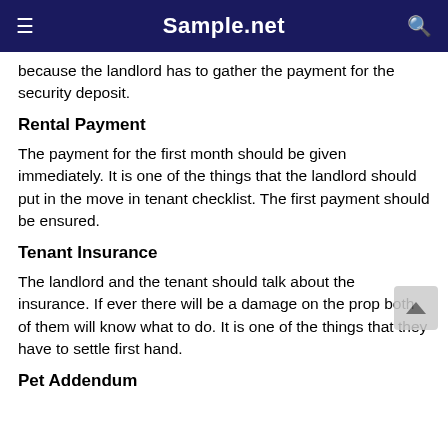Sample.net
because the landlord has to gather the payment for the security deposit.
Rental Payment
The payment for the first month should be given immediately. It is one of the things that the landlord should put in the move in tenant checklist. The first payment should be ensured.
Tenant Insurance
The landlord and the tenant should talk about the insurance. If ever there will be a damage on the prop both of them will know what to do. It is one of the things that they have to settle first hand.
Pet Addendum